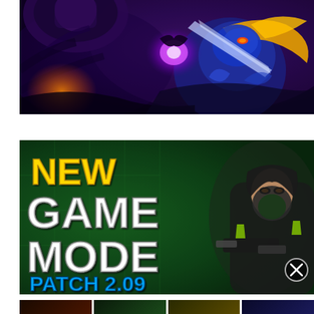[Figure (illustration): Dark fantasy action scene with a character in blue armor with yellow hair wielding a weapon, purple energy effect, and a large mechanical/monster head in the background. Dark purple tones.]
[Figure (illustration): Gaming thumbnail showing text 'NEW GAME MODE PATCH 2.09' in bold stylized fonts on a green background, with a female character in dark outfit and gas mask holding a gun on the right side. A circular X/close button is visible in lower right.]
[Figure (illustration): Row of four small gaming thumbnail images at the bottom of the page, partially visible, showing various game scenes.]